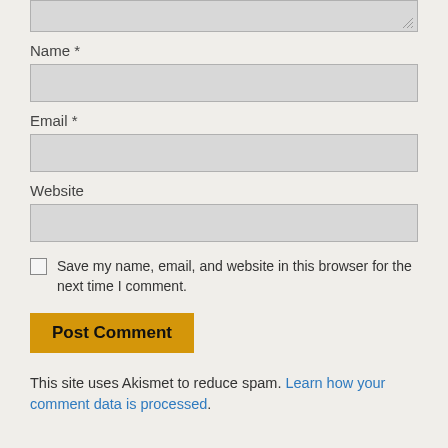Name *
Email *
Website
Save my name, email, and website in this browser for the next time I comment.
Post Comment
This site uses Akismet to reduce spam. Learn how your comment data is processed.